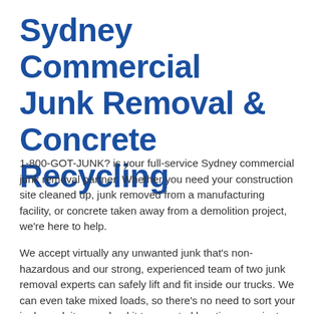Sydney Commercial Junk Removal & Concrete Recycling
1-800-GOT-JUNK? is your full-service Sydney commercial junk removal partner. Whether you need your construction site cleaned up, junk removed from a manufacturing facility, or concrete taken away from a demolition project, we're here to help.
We accept virtually any unwanted junk that's non-hazardous and our strong, experienced team of two junk removal experts can safely lift and fit inside our trucks. We can even take mixed loads, so there's no need to sort your junk, pack it up, or haul it to a central location - you just point, and junk disappears.